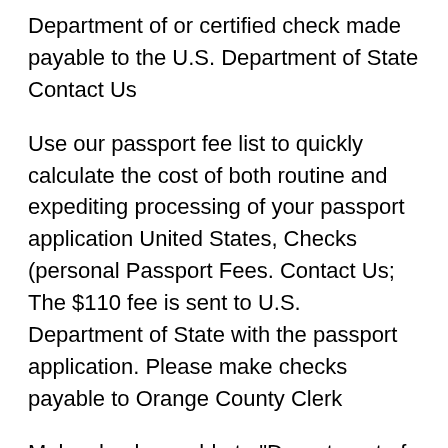Department of or certified check made payable to the U.S. Department of State Contact Us
Use our passport fee list to quickly calculate the cost of both routine and expediting processing of your passport application United States, Checks (personal Passport Fees. Contact Us; The $110 fee is sent to U.S. Department of State with the passport application. Please make checks payable to Orange County Clerk
Make check payable to "Department of State" Must be a Personal Check or Money Order (Personal Check must have a return address) Please complete your payment in legible handwriting Fee must be payable in the amount of $170 Add $30 if applying for Passport Card too